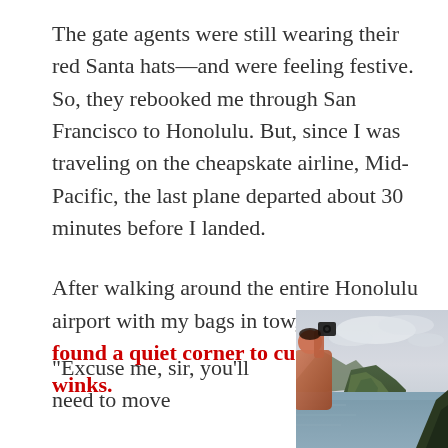The gate agents were still wearing their red Santa hats—and were feeling festive. So, they rebooked me through San Francisco to Honolulu. But, since I was traveling on the cheapskate airline, Mid-Pacific, the last plane departed about 30 minutes before I landed.
After walking around the entire Honolulu airport with my bags in tow, I finally found a quiet corner to curl up for 40 winks.
"Excuse me, sir, you'll need to move
[Figure (photo): A person with a camera overlooking a dramatic coastal landscape with green cliffs and ocean under a cloudy sky, likely the Na Pali Coast in Hawaii.]